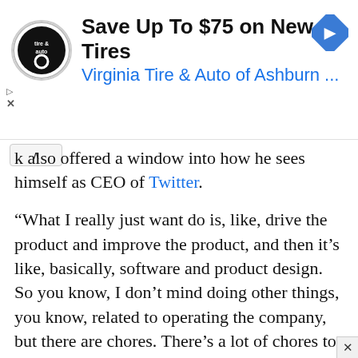[Figure (other): Advertisement banner for Virginia Tire & Auto of Ashburn with logo, arrow icon, title 'Save Up To $75 on New Tires' and subtitle 'Virginia Tire & Auto of Ashburn ...']
k also offered a window into how he sees himself as CEO of Twitter.
“What I really just want do is, like, drive the product and improve the product, and then it’s like, basically, software and product design. So you know, I don’t mind doing other things, you know, related to operating the company, but there are chores. There’s a lot of chores to do as CEO,” he said.
“Obviously, people do need to listen to me. If I